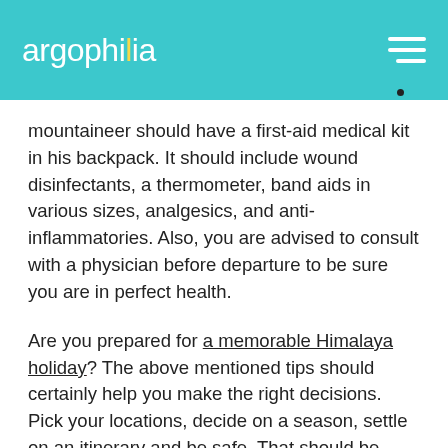argophilia
mountaineer should have a first-aid medical kit in his backpack. It should include wound disinfectants, a thermometer, band aids in various sizes, analgesics, and anti-inflammatories. Also, you are advised to consult with a physician before departure to be sure you are in perfect health.
Are you prepared for a memorable Himalaya holiday? The above mentioned tips should certainly help you make the right decisions. Pick your locations, decide on a season, settle on an itinerary and be safe. That should be enough to help you enjoy an incredible trekking adventure on top of the world's highest mountain.